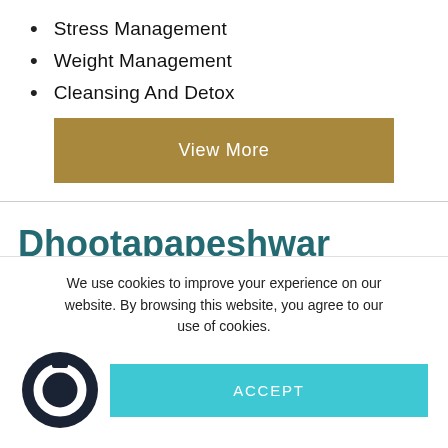Stress Management
Weight Management
Cleansing And Detox
View More
Dhootapapeshwar
We use cookies to improve your experience on our website. By browsing this website, you agree to our use of cookies.
ACCEPT